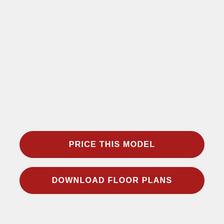PRICE THIS MODEL
DOWNLOAD FLOOR PLANS